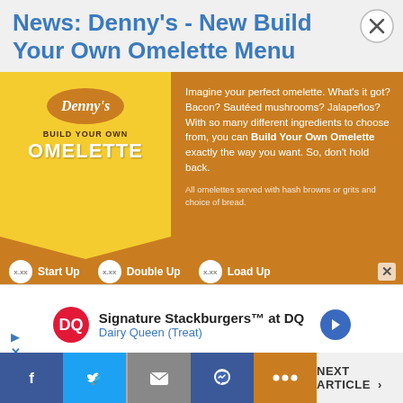News: Denny's - New Build Your Own Omelette Menu
[Figure (infographic): Denny's Build Your Own Omelette advertisement. Left side: yellow background with Denny's logo, 'BUILD YOUR OWN' text, and 'OMELETTE' in large white letters. Right side: orange background with text 'Imagine your perfect omelette. What's it got? Bacon? Sautéed mushrooms? Jalapeños? With so many different ingredients to choose from, you can Build Your Own Omelette exactly the way you want. So, don't hold back.' and smaller text 'All omelettes served with hash browns or grits and choice of bread.' Bottom strip shows: x.xx Start Up, x.xx Double Up, x.xx Load Up]
[Figure (infographic): Dairy Queen advertisement: DQ logo, 'Signature Stackburgers™ at DQ', 'Dairy Queen (Treat)' with navigation arrow. Ad controls (play and close) visible at bottom left.]
Facebook | Twitter | Mail | Messenger | ••• | NEXT ARTICLE >